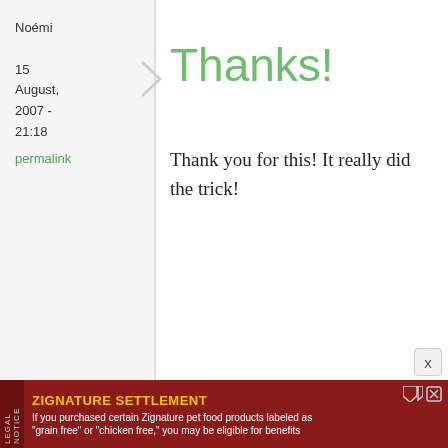Noémi
15 August, 2007 - 21:18
permalink
Thanks!
Thank you for this! It really did the trick!
Genie
31 August, 2007 - 22:41
permalink
Hey! I really like your
Hey! I really like your blog, and I appreciate
ZIGNATURE SETTLEMENT
If you purchased certain Zignature pet food products labeled as "grain free" or "chicken free," you may be eligible for benefits